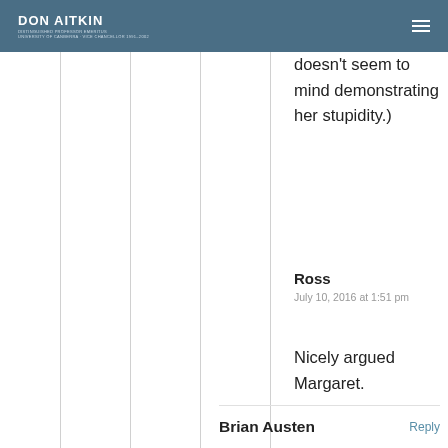DON AITKIN
doesn't seem to mind demonstrating her stupidity.)
Ross
July 10, 2016 at 1:51 pm
Nicely argued Margaret.
Brian Austen Reply